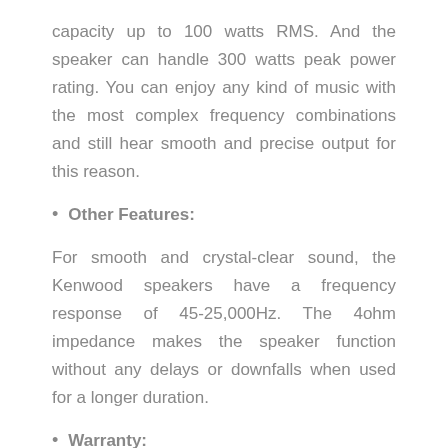capacity up to 100 watts RMS. And the speaker can handle 300 watts peak power rating. You can enjoy any kind of music with the most complex frequency combinations and still hear smooth and precise output for this reason.
Other Features:
For smooth and crystal-clear sound, the Kenwood speakers have a frequency response of 45-25,000Hz. The 4ohm impedance makes the speaker function without any delays or downfalls when used for a longer duration.
Warranty: